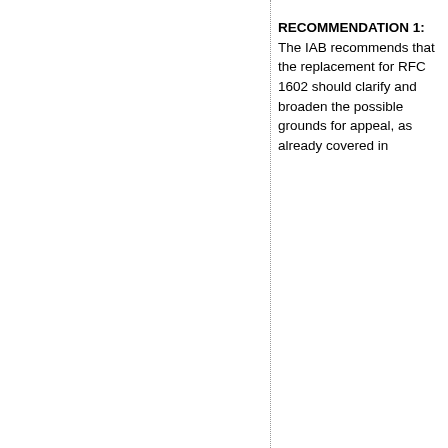RECOMMENDATION 1: The IAB recommends that the replacement for RFC 1602 should clarify and broaden the possible grounds for appeal, as already covered in